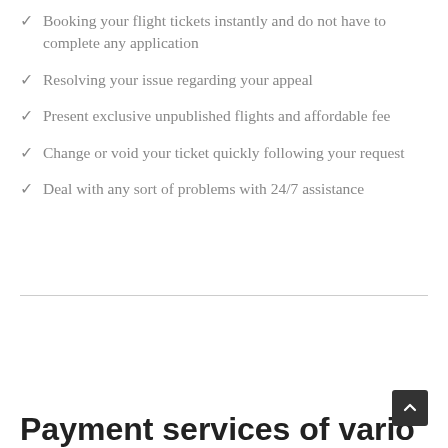✓ Booking your flight tickets instantly and do not have to complete any application
✓ Resolving your issue regarding your appeal
✓ Present exclusive unpublished flights and affordable fee
✓ Change or void your ticket quickly following your request
✓ Deal with any sort of problems with 24/7 assistance
Payment services of vario